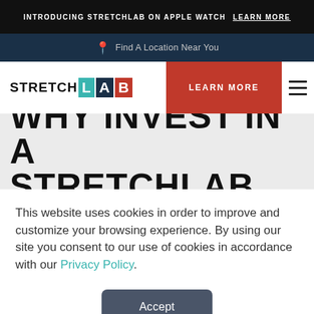INTRODUCING STRETCHLAB ON APPLE WATCH  LEARN MORE
Find A Location Near You
[Figure (logo): StretchLab logo with teal L, dark blue A, red B blocks]
LEARN MORE
WHY INVEST IN A STRETCHLAB
This website uses cookies in order to improve and customize your browsing experience. By using our site you consent to our use of cookies in accordance with our Privacy Policy.
Accept